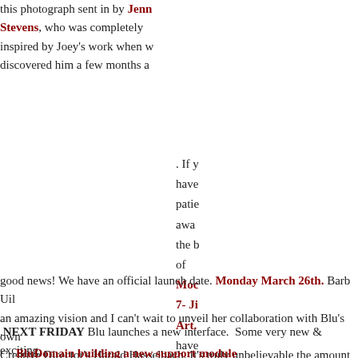this photograph sent in by Jenn Stevens, who was completely inspired by Joey's work when w discovered him a few months a
. If y have patie awa the b of Moc 7- Ji Art. have som good news! We have an official launch date. Monday March 26th. Barb Uil an amazing vision and I can't wait to unveil her collaboration with Blu's own Creative Director's Harald Hasselbach. It's truly unbelievable the amount of this talented woman has.
.NEXT FRIDAY Blu launches a new interface.  Some very new & exciting features. Stay tuned.
BluDomain building a new support module